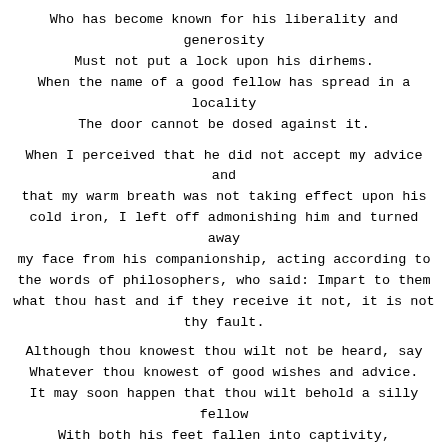Who has become known for his liberality and generosity
Must not put a lock upon his dirhems.
When the name of a good fellow has spread in a locality
The door cannot be dosed against it.
When I perceived that he did not accept my advice and that my warm breath was not taking effect upon his cold iron, I left off admonishing him and turned away my face from his companionship, acting according to the words of philosophers, who said: Impart to them what thou hast and if they receive it not, it is not thy fault.
Although thou knowest thou wilt not be heard, say
Whatever thou knowest of good wishes and advice.
It may soon happen that thou wilt behold a silly fellow
With both his feet fallen into captivity,
Striking his hands together, and saying: `Alas,
I have not listened to the advice of a scholar.?
After some time I saw the consequences of his